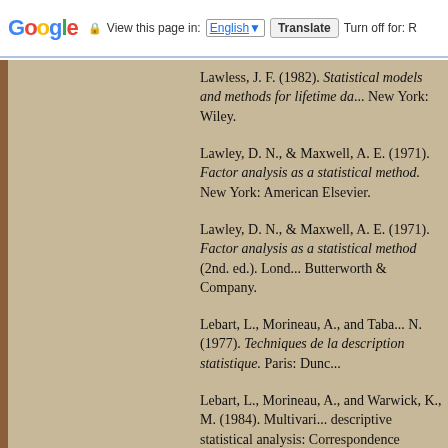Google | View this page in: English [▼] | Translate | Turn off for: R
Lawless, J. F. (1982). Statistical models and methods for lifetime da... New York: Wiley.
Lawley, D. N., & Maxwell, A. E. (1971). Factor analysis as a statistical method. New York: American Elsevier.
Lawley, D. N., & Maxwell, A. E. (1971). Factor analysis as a statistical method (2nd. ed.). Londo... Butterworth & Company.
Lebart, L., Morineau, A., and Taba... N. (1977). Techniques de la description statistique. Paris: Dunc...
Lebart, L., Morineau, A., and Warwick, K., M. (1984). Multivari... descriptive statistical analysis: Correspondence analysis and relate... techniques for large matrices. New...